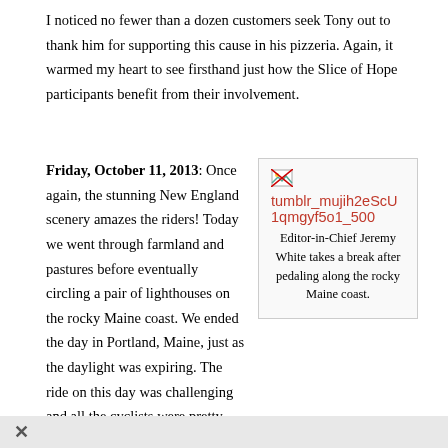I noticed no fewer than a dozen customers seek Tony out to thank him for supporting this cause in his pizzeria. Again, it warmed my heart to see firsthand just how the Slice of Hope participants benefit from their involvement.
Friday, October 11, 2013: Once again, the stunning New England scenery amazes the riders! Today we went through farmland and pastures before eventually circling a pair of lighthouses on the rocky Maine coast. We ended the day in Portland, Maine, just as the daylight was expiring. The ride on this day was challenging and all the cyclists were pretty beat at its conclusion. I think we all took naps before
[Figure (photo): Broken image placeholder with filename tumblr_mujih2eScU1qmgyf5o1_500 shown as a red link, with a small broken image icon]
Editor-in-Chief Jeremy White takes a break after pedaling along the rocky Maine coast.
×